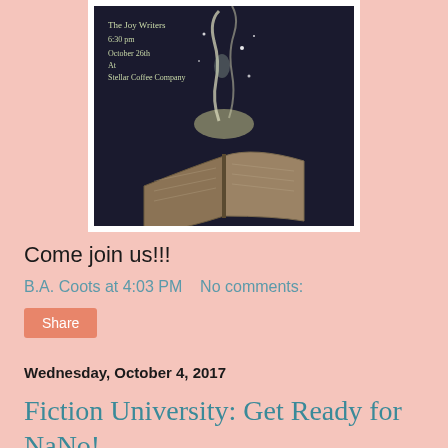[Figure (illustration): Dark background image of an open book with magical light and sparkles rising from it, with text overlay: 'The Joy Writers / 6:30 pm / October 26th / At / Stellar Coffee Company']
Come join us!!!
B.A. Coots at 4:03 PM    No comments:
Share
Wednesday, October 4, 2017
Fiction University: Get Ready for NaNo! At-Home Workshop: Idea to Nove...